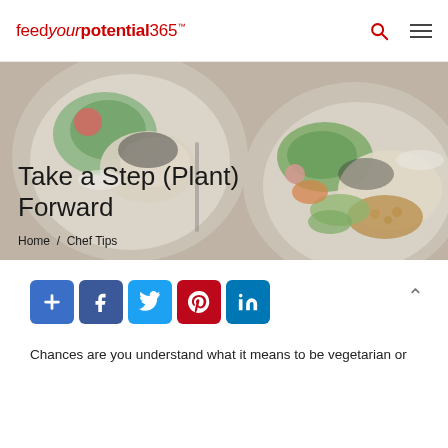feedyourpotential365™
[Figure (photo): Two bowls filled with colorful plant-based food including avocado, rice, vegetables, chickpeas on a wooden table background]
Take a Step (Plant) Forward
Home / Chef Tips
[Figure (infographic): Social sharing buttons: AddThis, Facebook, Twitter, Pinterest, LinkedIn]
Chances are you understand what it means to be vegetarian or